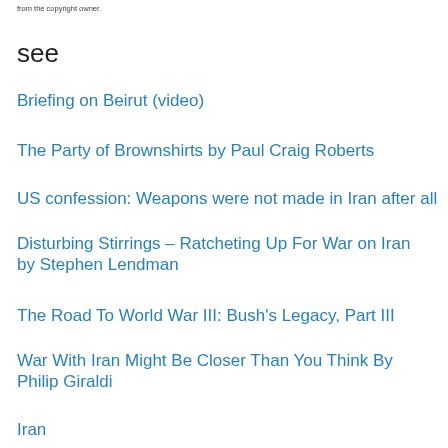from the copyright owner.
see
Briefing on Beirut (video)
The Party of Brownshirts by Paul Craig Roberts
US confession: Weapons were not made in Iran after all
Disturbing Stirrings – Ratcheting Up For War on Iran by Stephen Lendman
The Road To World War III: Bush's Legacy, Part III
War With Iran Might Be Closer Than You Think By Philip Giraldi
Iran